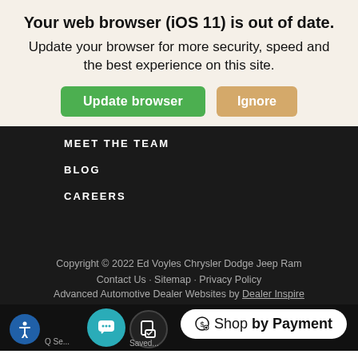Your web browser (iOS 11) is out of date.
Update your browser for more security, speed and the best experience on this site.
Update browser   Ignore
MEET THE TEAM
BLOG
CAREERS
Copyright © 2022 Ed Voyles Chrysler Dodge Jeep Ram
Contact Us · Sitemap · Privacy Policy
Advanced Automotive Dealer Websites by Dealer Inspire
Shop by Payment